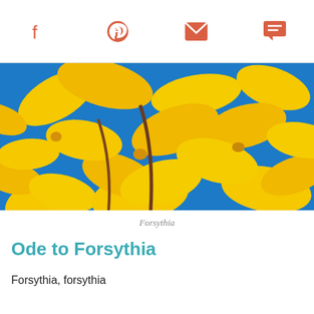Social share icons: Facebook, Pinterest, Email, Comment
[Figure (photo): Close-up photograph of yellow forsythia flowers against a bright blue sky]
Forsythia
Ode to Forsythia
Forsythia, forsythia